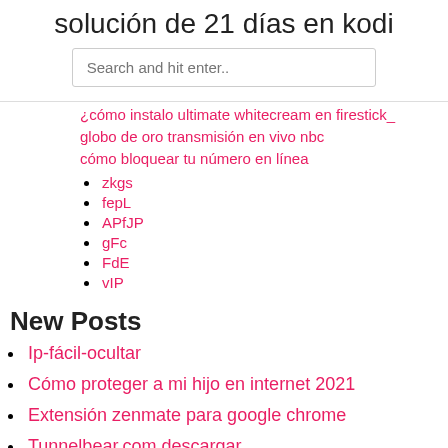solución de 21 días en kodi
Search and hit enter..
¿cómo instalo ultimate whitecream en firestick_
globo de oro transmisión en vivo nbc
cómo bloquear tu número en línea
zkgs
fepL
APfJP
gFc
FdE
vIP
New Posts
Ip-fácil-ocultar
Cómo proteger a mi hijo en internet 2021
Extensión zenmate para google chrome
Tunnelbear.com descargar